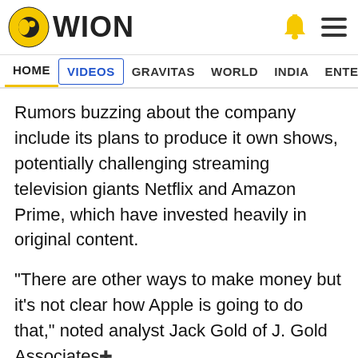WION
HOME | VIDEOS | GRAVITAS | WORLD | INDIA | ENTERTAINMENT | SPORTS
Rumors buzzing about the company include its plans to produce it own shows, potentially challenging streaming television giants Netflix and Amazon Prime, which have invested heavily in original content.
"There are other ways to make money but it's not clear how Apple is going to do that," noted analyst Jack Gold of J. Gold Associates
Apple has consistently touted the success of its eponymous smartwatch, engineering the wristwear with health and fitness features